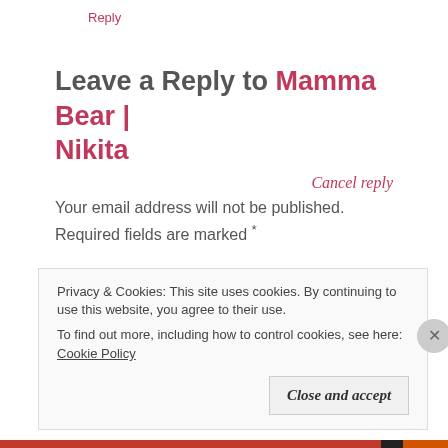Reply
Leave a Reply to Mamma Bear | Nikita
Cancel reply
Your email address will not be published. Required fields are marked *
Comment *
Privacy & Cookies: This site uses cookies. By continuing to use this website, you agree to their use.
To find out more, including how to control cookies, see here: Cookie Policy
Close and accept